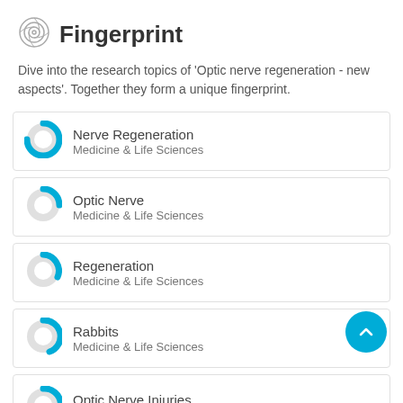Fingerprint
Dive into the research topics of 'Optic nerve regeneration - new aspects'. Together they form a unique fingerprint.
Nerve Regeneration — Medicine & Life Sciences
Optic Nerve — Medicine & Life Sciences
Regeneration — Medicine & Life Sciences
Rabbits — Medicine & Life Sciences
Optic Nerve Injuries — Medicine & Life Sciences